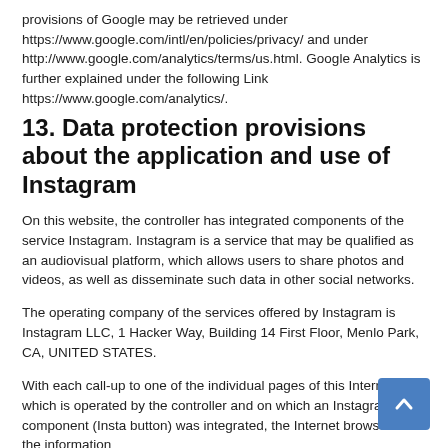provisions of Google may be retrieved under https://www.google.com/intl/en/policies/privacy/ and under http://www.google.com/analytics/terms/us.html. Google Analytics is further explained under the following Link https://www.google.com/analytics/.
13. Data protection provisions about the application and use of Instagram
On this website, the controller has integrated components of the service Instagram. Instagram is a service that may be qualified as an audiovisual platform, which allows users to share photos and videos, as well as disseminate such data in other social networks.
The operating company of the services offered by Instagram is Instagram LLC, 1 Hacker Way, Building 14 First Floor, Menlo Park, CA, UNITED STATES.
With each call-up to one of the individual pages of this Internet site, which is operated by the controller and on which an Instagram component (Insta button) was integrated, the Internet browser on the information